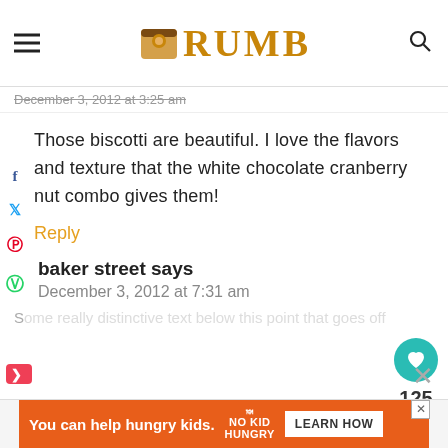CRUMB
December 3, 2012 at 3:25 am
Those biscotti are beautiful. I love the flavors and texture that the white chocolate cranberry nut combo gives them!
Reply
baker street says
December 3, 2012 at 7:31 am
You can help hungry kids. NO KID HUNGRY LEARN HOW